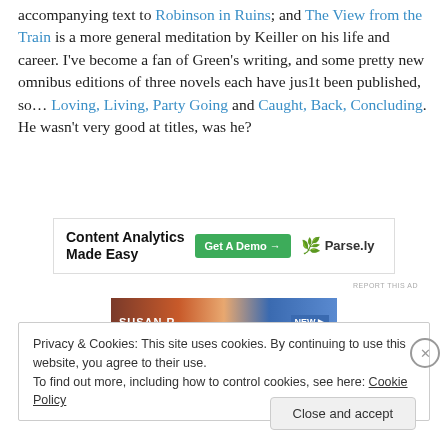accompanying text to Robinson in Ruins; and The View from the Train is a more general meditation by Keiller on his life and career. I've become a fan of Green's writing, and some pretty new omnibus editions of three novels each have jus1t been published, so… Loving, Living, Party Going and Caught, Back, Concluding. He wasn't very good at titles, was he?
[Figure (screenshot): Advertisement banner for Parse.ly Content Analytics with green 'Get A Demo' button]
[Figure (photo): Partial book cover image showing 'SUSAN B' text on a reddish-brown background with blue element on right]
Privacy & Cookies: This site uses cookies. By continuing to use this website, you agree to their use.
To find out more, including how to control cookies, see here: Cookie Policy